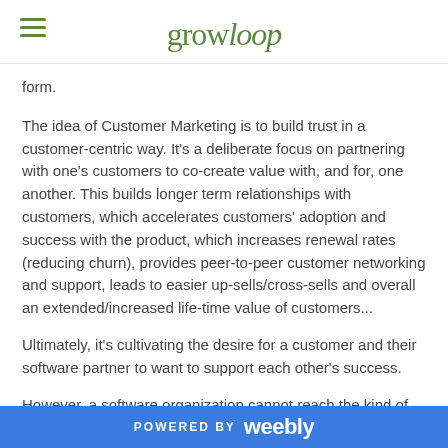growloop
form.
The idea of Customer Marketing is to build trust in a customer-centric way. It's a deliberate focus on partnering with one's customers to co-create value with, and for, one another. This builds longer term relationships with customers, which accelerates customers' adoption and success with the product, which increases renewal rates (reducing churn), provides peer-to-peer customer networking and support, leads to easier up-sells/cross-sells and overall an extended/increased life-time value of customers...
Ultimately, it's cultivating the desire for a customer and their software partner to want to support each other's success.
However, a software organization cannot reach the kind of
POWERED BY weebly